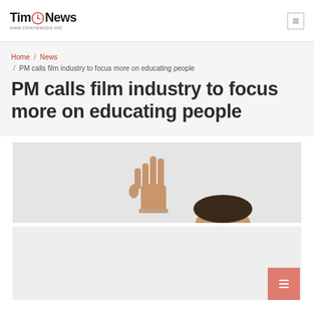Time News | www.timenewsbd.net
Home / News / PM calls film industry to focus more on educating people
PM calls film industry to focus more on educating people
[Figure (photo): Photo of a person raising their hand, partially visible, with grey background. Image is cropped across two sections.]